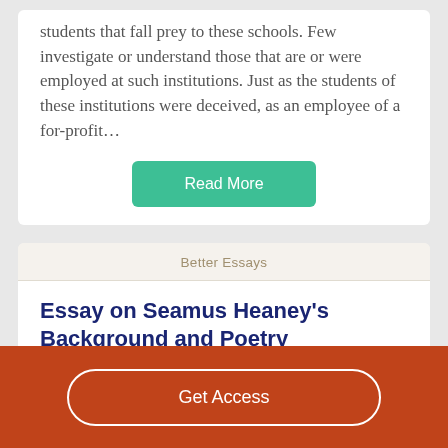students that fall prey to these schools. Few investigate or understand those that are or were employed at such institutions. Just as the students of these institutions were deceived, as an employee of a for-profit…
Read More
Better Essays
Essay on Seamus Heaney's Background and Poetry
3041 Words
13 Pages
Get Access